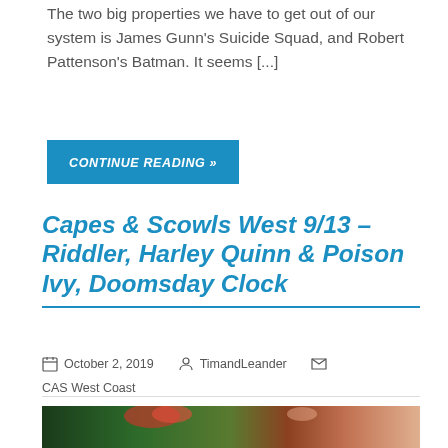The two big properties we have to get out of our system is James Gunn's Suicide Squad, and Robert Pattenson's Batman. It seems [...]
CONTINUE READING »
Capes & Scowls West 9/13 – Riddler, Harley Quinn & Poison Ivy, Doomsday Clock
October 2, 2019   TimandLeander   CAS West Coast
[Figure (photo): Comic book style illustration showing Poison Ivy (green-skinned woman with red hair) on the left and Harley Quinn (woman with pink and blonde pigtails) on the right]